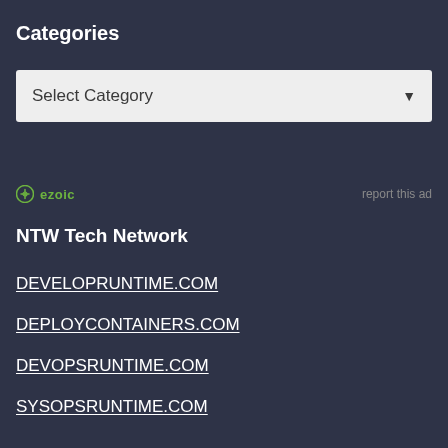Categories
[Figure (screenshot): Dropdown selector showing 'Select Category' with a down arrow, light gray background]
[Figure (logo): Ezoic logo with circular icon and green text, with 'report this ad' link on the right]
NTW Tech Network
DEVELOPRUNTIME.COM
DEPLOYCONTAINERS.COM
DEVOPSRUNTIME.COM
SYSOPSRUNTIME.COM